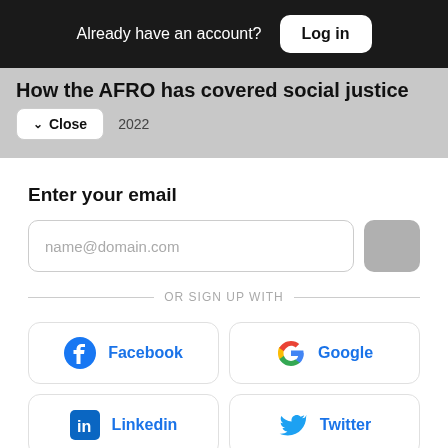Already have an account? Log in
How the AFRO has covered social justice
2022
Enter your email
name@domain.com
OR SIGN UP WITH
Facebook
Google
Linkedin
Twitter
Member profiles are powered by Pico. By signing up, you agree to Pico's Terms.